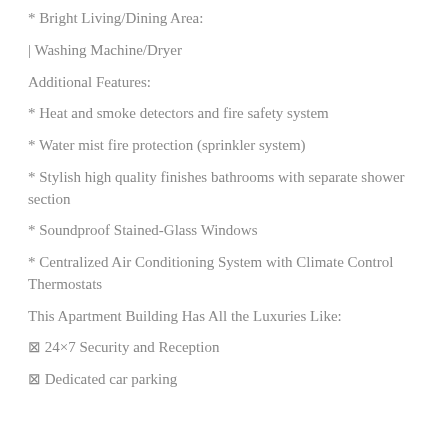* Bright Living/Dining Area:
| Washing Machine/Dryer
Additional Features:
* Heat and smoke detectors and fire safety system
* Water mist fire protection (sprinkler system)
* Stylish high quality finishes bathrooms with separate shower section
* Soundproof Stained-Glass Windows
* Centralized Air Conditioning System with Climate Control Thermostats
This Apartment Building Has All the Luxuries Like:
⊠ 24×7 Security and Reception
⊠ Dedicated car parking